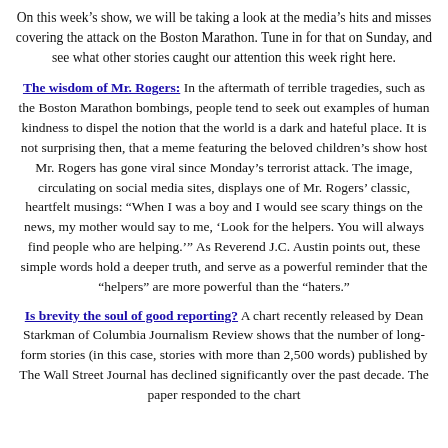On this week's show, we will be taking a look at the media's hits and misses covering the attack on the Boston Marathon. Tune in for that on Sunday, and see what other stories caught our attention this week right here.
The wisdom of Mr. Rogers: In the aftermath of terrible tragedies, such as the Boston Marathon bombings, people tend to seek out examples of human kindness to dispel the notion that the world is a dark and hateful place. It is not surprising then, that a meme featuring the beloved children's show host Mr. Rogers has gone viral since Monday's terrorist attack. The image, circulating on social media sites, displays one of Mr. Rogers' classic, heartfelt musings: “When I was a boy and I would see scary things on the news, my mother would say to me, ‘Look for the helpers. You will always find people who are helping.’” As Reverend J.C. Austin points out, these simple words hold a deeper truth, and serve as a powerful reminder that the “helpers” are more powerful than the “haters.”
Is brevity the soul of good reporting? A chart recently released by Dean Starkman of Columbia Journalism Review shows that the number of long-form stories (in this case, stories with more than 2,500 words) published by The Wall Street Journal has declined significantly over the past decade. The paper responded to the chart